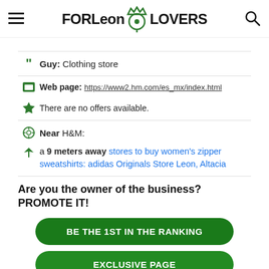FORLeon LOVERS
Guy: Clothing store
Web page: https://www2.hm.com/es_mx/index.html
There are no offers available.
Near H&M:
a 9 meters away stores to buy women's zipper sweatshirts: adidas Originals Store Leon, Altacia
Are you the owner of the business? PROMOTE IT!
BE THE 1ST IN THE RANKING
EXCLUSIVE PAGE